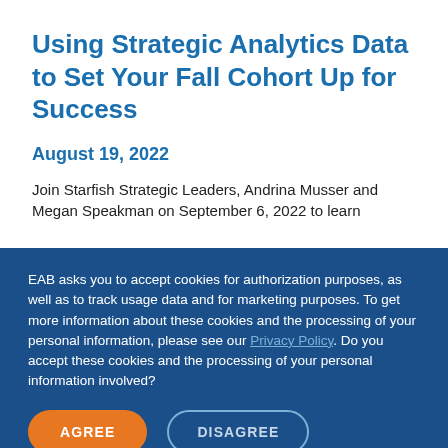Using Strategic Analytics Data to Set Your Fall Cohort Up for Success
August 19, 2022
Join Starfish Strategic Leaders, Andrina Musser and Megan Speakman on September 6, 2022 to learn
EAB asks you to accept cookies for authorization purposes, as well as to track usage data and for marketing purposes. To get more information about these cookies and the processing of your personal information, please see our Privacy Policy. Do you accept these cookies and the processing of your personal information involved?